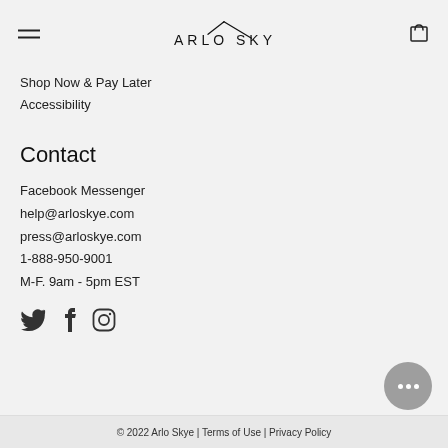[Figure (logo): Arlo Skye logo with house/arrow icon above the brand name text in uppercase letters]
Shop Now & Pay Later
Accessibility
Contact
Facebook Messenger
help@arloskye.com
press@arloskye.com
1-888-950-9001
M-F. 9am - 5pm EST
[Figure (illustration): Social media icons: Twitter bird, Facebook f, Instagram camera]
© 2022 Arlo Skye | Terms of Use | Privacy Policy